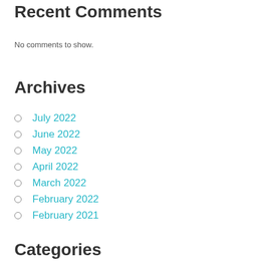Recent Comments
No comments to show.
Archives
July 2022
June 2022
May 2022
April 2022
March 2022
February 2022
February 2021
Categories